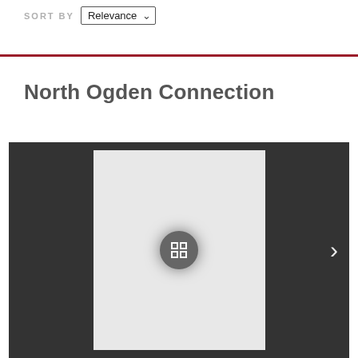SORT BY Relevance
North Ogden Connection
[Figure (screenshot): Image viewer panel with dark background showing a light gray document/image placeholder in the center with a circular expand/fullscreen button icon. A right-arrow navigation button is visible on the right side.]